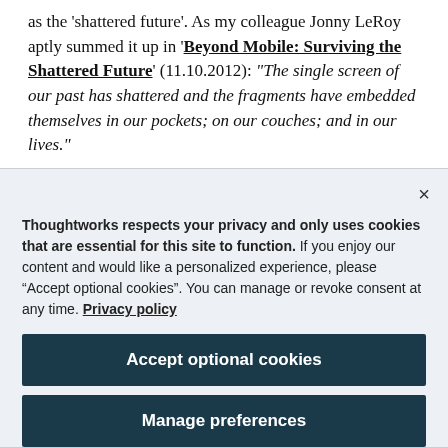as the 'shattered future'. As my colleague Jonny LeRoy aptly summed it up in 'Beyond Mobile: Surviving the Shattered Future' (11.10.2012): "The single screen of our past has shattered and the fragments have embedded themselves in our pockets; on our couches; and in our lives."
Thoughtworks respects your privacy and only uses cookies that are essential for this site to function. If you enjoy our content and would like a personalized experience, please “Accept optional cookies”. You can manage or revoke consent at any time. Privacy policy
Accept optional cookies
Manage preferences